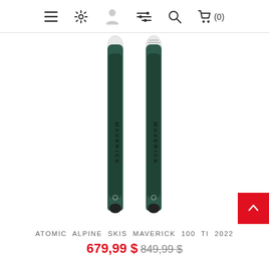Navigation icons: menu, settings, account, filters, search, cart (0)
[Figure (photo): A pair of Atomic Maverick 100 TI alpine skis standing upright, dark green/black color with white tips, shown front-on against a white background.]
ATOMIC ALPINE SKIS MAVERICK 100 TI 2022
679,99 $ 849,99 $